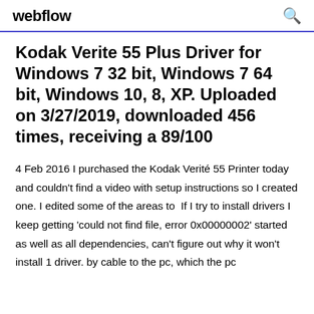webflow
Kodak Verite 55 Plus Driver for Windows 7 32 bit, Windows 7 64 bit, Windows 10, 8, XP. Uploaded on 3/27/2019, downloaded 456 times, receiving a 89/100
4 Feb 2016 I purchased the Kodak Verité 55 Printer today and couldn't find a video with setup instructions so I created one. I edited some of the areas to  If I try to install drivers I keep getting 'could not find file, error 0x00000002' started as well as all dependencies, can't figure out why it won't install 1 driver. by cable to the pc, which the pc